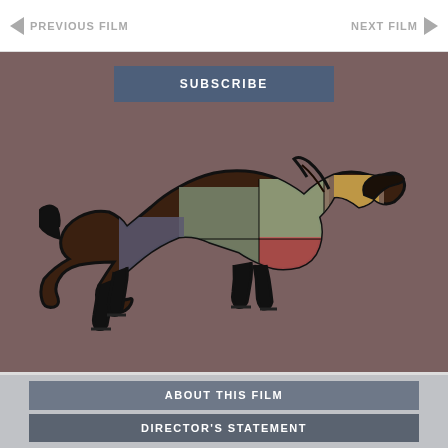PREVIOUS FILM   NEXT FILM
[Figure (illustration): SUBSCRIBE button above a horse silhouette illustration filled with photographic collage images on a brownish-grey background]
ABOUT THIS FILM
DIRECTOR'S STATEMENT